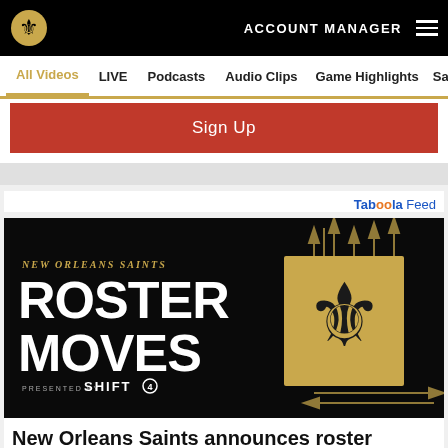New Orleans Saints - ACCOUNT MANAGER
All Videos  LIVE  Podcasts  Audio Clips  Game Highlights  Sai
Sign Up
Tab OO la Feed
[Figure (illustration): New Orleans Saints Roster Moves advertisement image. Black background with gold and white text reading NEW ORLEANS SAINTS ROSTER MOVES PRESENTED BY SHIFT4, with a gold Saints fleur-de-lis logo on the right and gold arrow graphics.]
New Orleans Saints announces roster